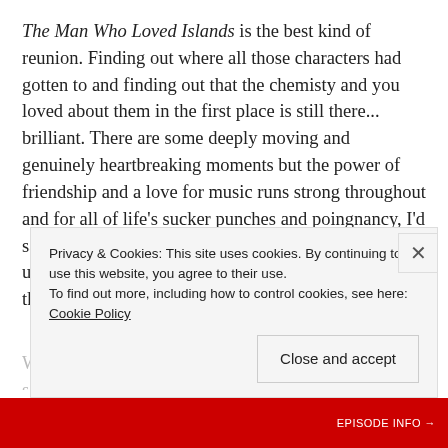The Man Who Loved Islands is the best kind of reunion. Finding out where all those characters had gotten to and finding out that the chemisty and you loved about them in the first place is still there... brilliant. There are some deeply moving and genuinely heartbreaking moments but the power of friendship and a love for music runs strong throughout and for all of life's sucker punches and poingnancy, I'd say The Man Who Loves Islands is ultimlately an uplifting story of hope. And a bloody funny one at that, too.
Privacy & Cookies: This site uses cookies. By continuing to use this website, you agree to their use. To find out more, including how to control cookies, see here: Cookie Policy
Close and accept